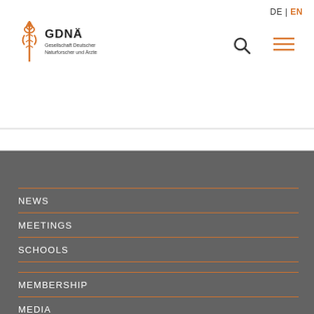DE | EN
[Figure (logo): GDNÄ logo with caduceus symbol and text 'Gesellschaft Deutscher Naturforscher und Ärzte']
NEWS
MEETINGS
SCHOOLS
MEMBERSHIP
MEDIA
PUBLICATIONS